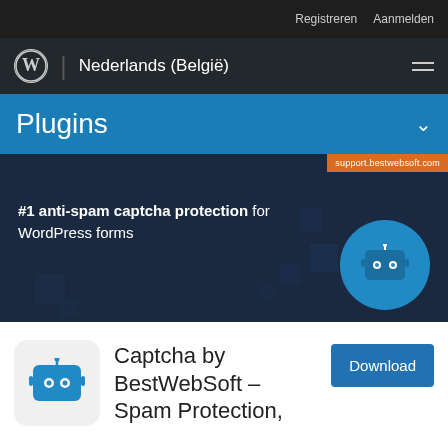Registreren   Aanmelden
Nederlands (België)
Plugins
[Figure (screenshot): Plugin banner for Captcha by BestWebSoft showing anti-spam captcha protection for WordPress forms with robot icon and support.bestwebsoft.com label]
Captcha by BestWebSoft – Spam Protection,
Download